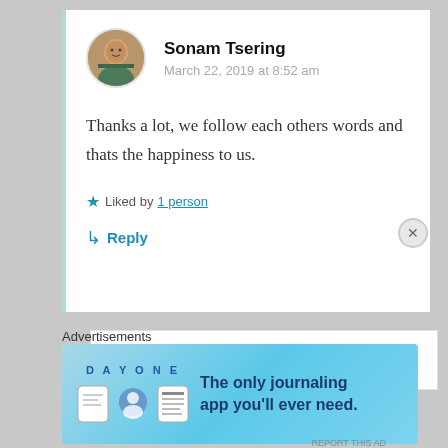Sonam Tsering
March 22, 2019 at 8:52 am
Thanks a lot, we follow each others words and thats the happiness to us.
★ Liked by 1 person
↳ Reply
Advertisements
[Figure (infographic): DayOne app advertisement banner: 'The only journaling app you'll ever need.' with app icons]